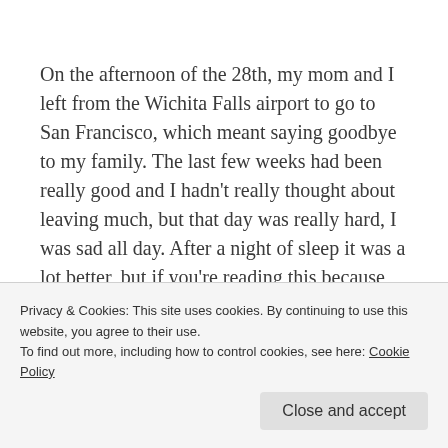On the afternoon of the 28th, my mom and I left from the Wichita Falls airport to go to San Francisco, which meant saying goodbye to my family. The last few weeks had been really good and I hadn't really thought about leaving much, but that day was really hard, I was sad all day. After a night of sleep it was a lot better, but if you're reading this because you're about to go on exchange, it's very important that you realize this. Exchange is
Privacy & Cookies: This site uses cookies. By continuing to use this website, you agree to their use.
To find out more, including how to control cookies, see here: Cookie Policy
Close and accept
These people become your family, just as much as your